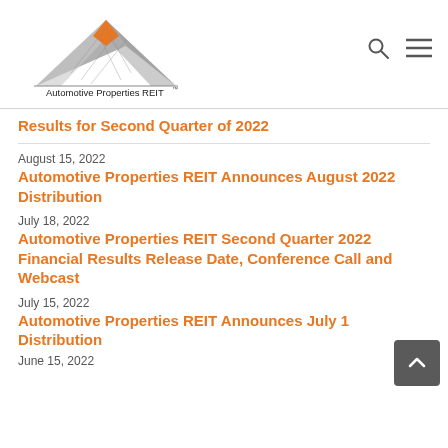[Figure (logo): Automotive Properties REIT logo — triangular mountain shape in grey with orange diamond, text 'Automotive Properties REIT' below]
Results for Second Quarter of 2022
August 15, 2022
Automotive Properties REIT Announces August 2022 Distribution
July 18, 2022
Automotive Properties REIT Second Quarter 2022 Financial Results Release Date, Conference Call and Webcast
July 15, 2022
Automotive Properties REIT Announces July 1… Distribution
June 15, 2022